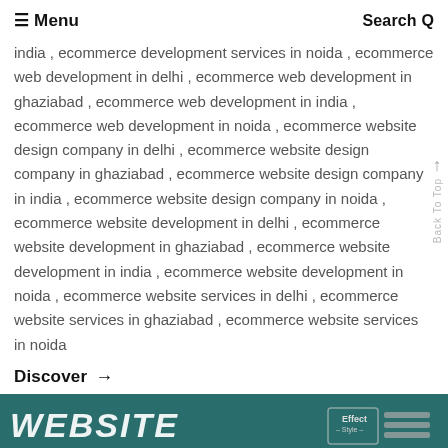≡ Menu  Search Q
india , ecommerce development services in noida , ecommerce web development in delhi , ecommerce web development in ghaziabad , ecommerce web development in india , ecommerce web development in noida , ecommerce website design company in delhi , ecommerce website design company in ghaziabad , ecommerce website design company in india , ecommerce website design company in noida , ecommerce website development in delhi , ecommerce website development in ghaziabad , ecommerce website development in india , ecommerce website development in noida , ecommerce website services in delhi , ecommerce website services in ghaziabad , ecommerce website services in noida
Discover →
[Figure (other): Dark teal banner with white bold italic text reading WEBSITE, with a small graphic/logo on the right side]